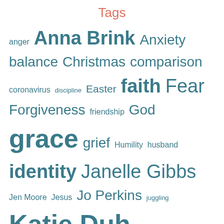Tags
anger Anna Brink Anxiety balance Christmas comparison coronavirus discipline Easter faith Fear Forgiveness friendship God grace grief Humility husband identity Janelle Gibbs Jen Moore Jesus Jo Perkins juggling Katie Duh Laura Freytag marriage memories Michelle Warner Mistakes Mom Fail mom guilt Moms in Progress mom win